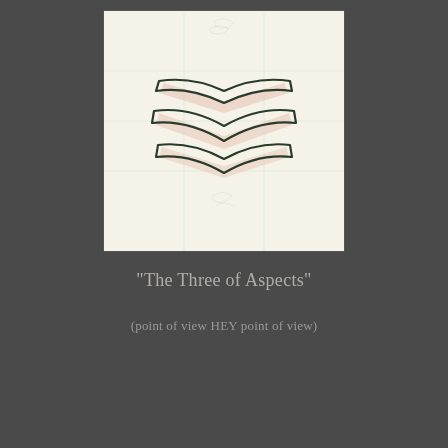[Figure (illustration): A hand-drawn sketch on cream/off-white paper showing three overlapping boomerang or chevron-shaped forms arranged horizontally, with faint blue grid lines visible in the background. The forms appear to be drawn with dark ink outlines and light pink/salmon shading, suggesting three stacked angular wing-like shapes viewed from the front.]
"The Three of Aspects"
(point of view HEY point of view)